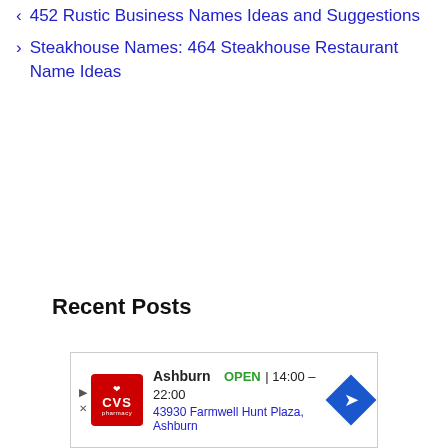< 452 Rustic Business Names Ideas and Suggestions
> Steakhouse Names: 464 Steakhouse Restaurant Name Ideas
Recent Posts
[Figure (screenshot): CVS Pharmacy advertisement showing Ashburn location, OPEN 14:00-22:00, 43930 Farmwell Hunt Plaza, Ashburn, with navigation arrow icon]